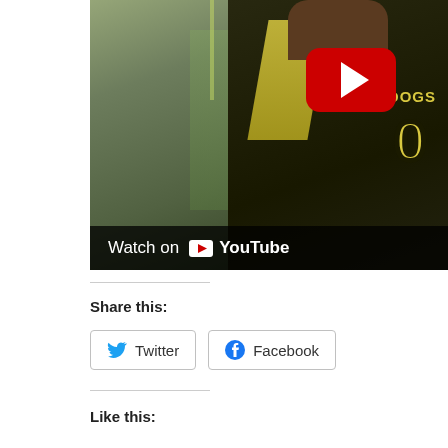[Figure (screenshot): YouTube embedded video player showing a football player wearing a black and yellow Bulldogs jersey with number 0, with a crowd in the background. Red YouTube play button visible. 'Watch on YouTube' bar at bottom.]
Share this:
Twitter
Facebook
Like this: